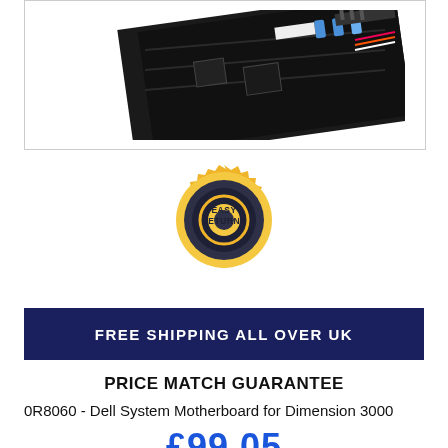[Figure (photo): Partial photo of a computer motherboard (black PCB with components) shown in the top portion of the page inside a bordered box.]
[Figure (illustration): Easy Returns badge/seal: gold circular badge with dark center circle, text 'EASY RETURNS' in bold dark letters on gold background.]
FREE SHIPPING ALL OVER UK
PRICE MATCH GUARANTEE
0R8060 - Dell System Motherboard for Dimension 3000
£99.05